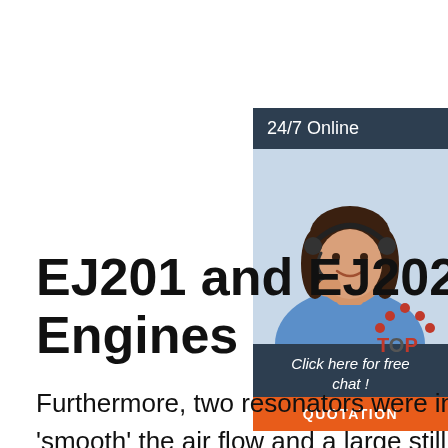[Figure (photo): Customer service representative woman with headset smiling, with 24/7 Online banner, free chat and quotation button sidebar advertisement]
EJ201 and EJ202 Subaru Engines
Furthermore, two resonators were incorporated in the air duct to 'smooth' the air flow and a large still air box - mounted on the throttle chamber - improved engine response and quietness. Cylinder head. The EJ201 and EJ202 engines had an aluminium alloy cylinder head with cross flow